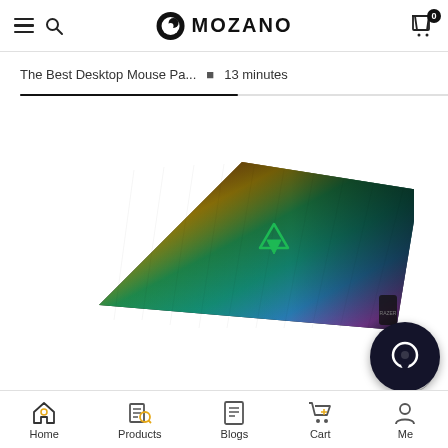MOZANO — menu, search, cart (0)
The Best Desktop Mouse Pa... ▪ 13 minutes
[Figure (photo): Razer gaming mouse pad with rainbow/spectrum color gradient — red, orange, yellow, green, blue, purple — with a Razer logo (green snake) in the center on a dark background, photographed at an angle.]
Home | Products | Blogs | Cart | Me